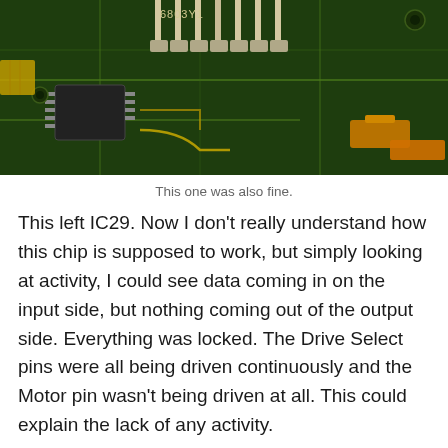[Figure (photo): Close-up photograph of a green PCB (printed circuit board) showing IC chips, solder joints, yellow traces, and connector pins. Text '6803Y1' visible at top.]
This one was also fine.
This left IC29. Now I don't really understand how this chip is supposed to work, but simply looking at activity, I could see data coming in on the input side, but nothing coming out of the output side. Everything was locked. The Drive Select pins were all being driven continuously and the Motor pin wasn't being driven at all. This could explain the lack of any activity.
Having a likely suspect, I carefully desoldered the chip, using my desoldering station to remove the majority of the solder, and my brand new hot air rework station to